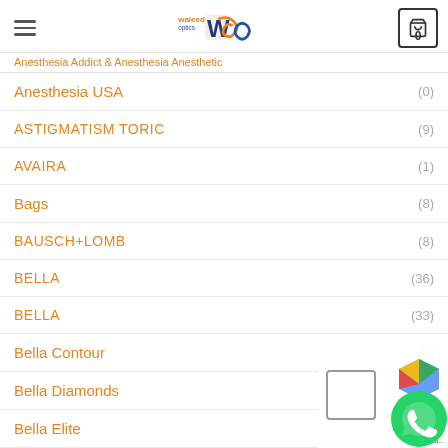Waleed Optics - navigation header with logo and cart showing 0
Anesthesia Addict & Anesthesia Anesthetic
Anesthesia USA (0)
ASTIGMATISM TORIC (9)
AVAIRA (1)
Bags (8)
BAUSCH+LOMB (8)
BELLA (36)
BELLA (33)
Bella Contour (0)
Bella Diamonds
Bella Elite (18)